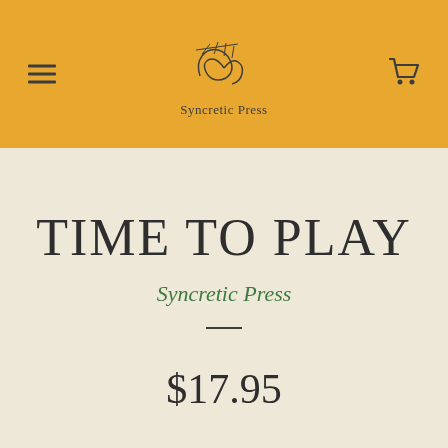Syncretic Press (logo/header with menu and cart icons)
TIME TO PLAY
Syncretic Press
$17.95